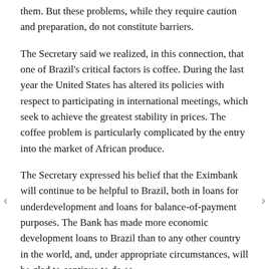them. But these problems, while they require caution and preparation, do not constitute barriers.
The Secretary said we realized, in this connection, that one of Brazil's critical factors is coffee. During the last year the United States has altered its policies with respect to participating in international meetings, which seek to achieve the greatest stability in prices. The coffee problem is particularly complicated by the entry into the market of African produce.
The Secretary expressed his belief that the Eximbank will continue to be helpful to Brazil, both in loans for underdevelopment and loans for balance-of-payment purposes. The Bank has made more economic development loans to Brazil than to any other country in the world, and, under appropriate circumstances, will be glad to continue to do so.
He then asked that Assistant Secretary Mann study the Brazilian proposals in the economic sector and report his observations later.
With respect to the oil development program in Brazil, the Secretary said countries in different parts of the world have their